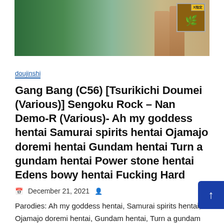[Figure (illustration): Banner image showing legs/feet with a green and beige background, and a badge with X marking in top right corner]
doujinshi
Gang Bang (C56) [Tsurikichi Doumei (Various)] Sengoku Rock – Nan Demo-R (Various)- Ah my goddess hentai Samurai spirits hentai Ojamajo doremi hentai Gundam hentai Turn a gundam hentai Power stone hentai Edens bowy hentai Fucking Hard
December 21, 2021
Parodies: Ah my goddess hentai, Samurai spirits hentai, Ojamajo doremi hentai, Gundam hentai, Turn a gundam hentai, Power stone hentai, Edens bowy hentai Characters: Nakoruru